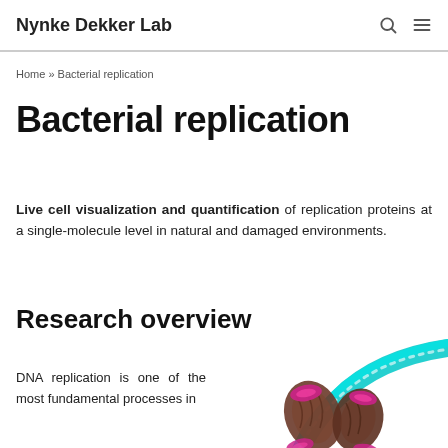Nynke Dekker Lab
Home » Bacterial replication
Bacterial replication
Live cell visualization and quantification of replication proteins at a single-molecule level in natural and damaged environments.
Research overview
DNA replication is one of the most fundamental processes in
[Figure (illustration): Illustration of DNA replication proteins/structures showing pink and brown helical strands with a cyan curved element, representing bacterial DNA replication machinery]